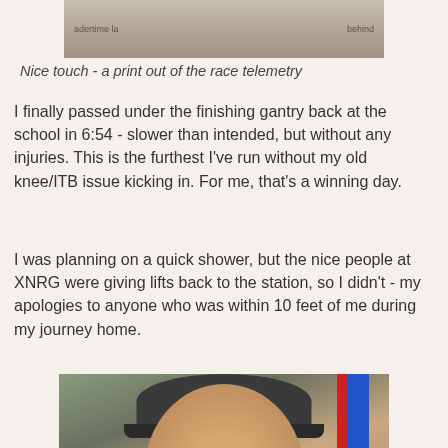[Figure (photo): Partial photo at top showing a race telemetry printout being held, with text 'adertime la' and 'behind' visible on the paper]
Nice touch - a print out of the race telemetry
I finally passed under the finishing gantry back at the school in 6:54 - slower than intended, but without any injuries. This is the furthest I've run without my old knee/ITB issue kicking in. For me, that's a winning day.
I was planning on a quick shower, but the nice people at XNRG were giving lifts back to the station, so I didn't - my apologies to anyone who was within 10 feet of me during my journey home.
[Figure (photo): Photo of a person wearing a dark baseball cap, taken from below showing their face, with blue and red structural elements (likely a bike rack or stand) visible in the background]